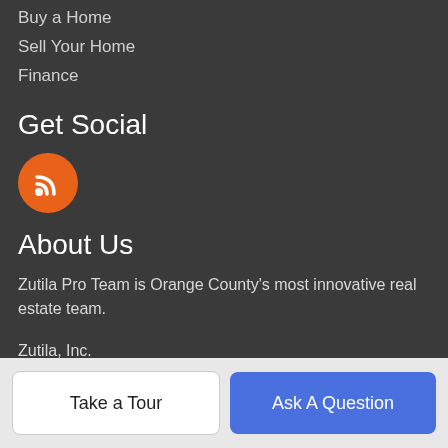Buy a Home
Sell Your Home
Finance
Get Social
[Figure (illustration): Orange circle with white RSS feed icon]
About Us
Zutila Pro Team is Orange County's most innovative real estate team.
Zutila, Inc.
400 Barranca Parkway #105
Irvine, CA 92604
(949) 681-8300
Take a Tour
Ask A Question